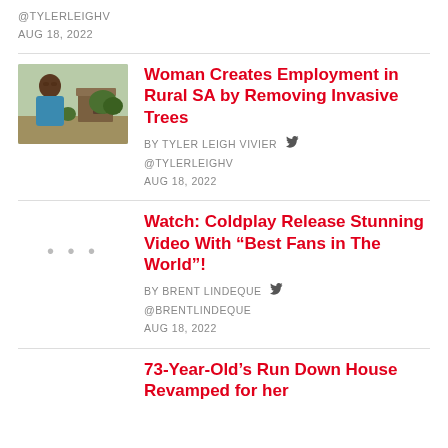@TYLERLEIGHV
AUG 18, 2022
[Figure (photo): Woman in blue shirt sitting outdoors near rustic structures]
Woman Creates Employment in Rural SA by Removing Invasive Trees
BY TYLER LEIGH VIVIER @TYLERLEIGHV
AUG 18, 2022
Watch: Coldplay Release Stunning Video With “Best Fans in The World”!
BY BRENT LINDEQUE @BRENTLINDEQUE
AUG 18, 2022
73-Year-Old’s Run Down House Revamped for her